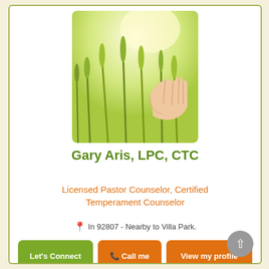[Figure (photo): A hand touching wheat stalks in a sunny field, golden-green tones]
Gary Aris, LPC, CTC
Licensed Pastor Counselor, Certified Temperament Counselor
In 92807 - Nearby to Villa Park.
Let's Connect
Call me
View my profile
What are you struggling through today? Are you